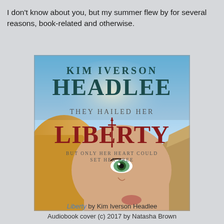I don't know about you, but my summer flew by for several reasons, book-related and otherwise.
[Figure (illustration): Book cover of 'Liberty' by Kim Iverson Headlee. Shows a young woman's face with blonde hair and green eyes. Text on cover reads: KIM IVERSON HEADLEE / THEY HAILED HER / LIBERTY / BUT ONLY HER HEART COULD SET HER FREE. Background shows desert canyon landscape with dramatic sky.]
Liberty by Kim Iverson Headlee
Audiobook cover (c) 2017 by Natasha Brown